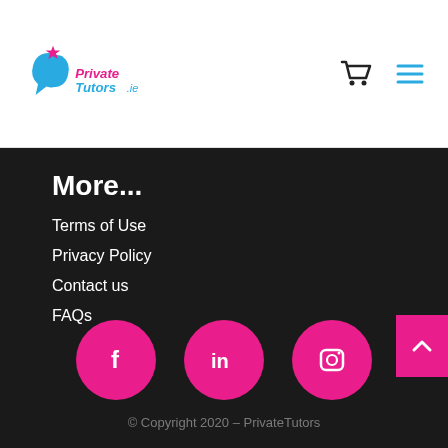[Figure (logo): PrivateTutors.ie logo with blue speech bubble and pink star, text in pink and blue]
[Figure (illustration): Shopping cart icon and hamburger menu icon in dark color]
More...
Terms of Use
Privacy Policy
Contact us
FAQs
[Figure (illustration): Three pink circular social media buttons: Facebook (f), LinkedIn (in), Instagram (camera icon)]
© Copyright 2020 – PrivateTutors